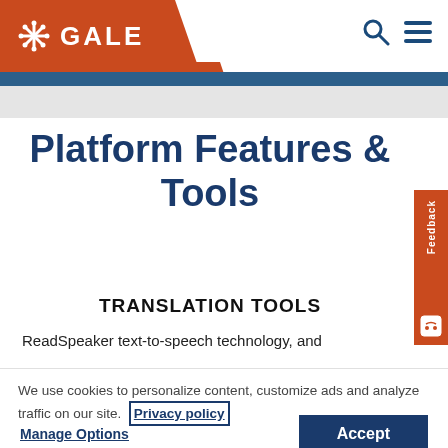GALE
Platform Features & Tools
TRANSLATION TOOLS
ReadSpeaker text-to-speech technology, and
We use cookies to personalize content, customize ads and analyze traffic on our site.  Privacy policy
Manage Options   Accept